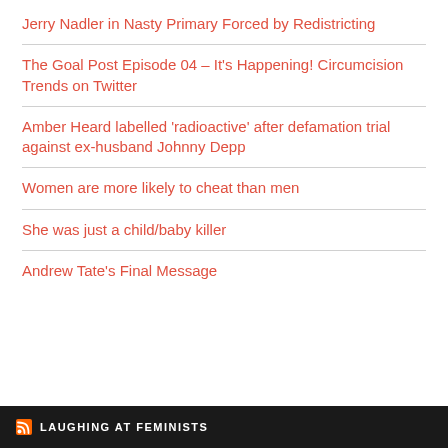Jerry Nadler in Nasty Primary Forced by Redistricting
The Goal Post Episode 04 – It's Happening! Circumcision Trends on Twitter
Amber Heard labelled 'radioactive' after defamation trial against ex-husband Johnny Depp
Women are more likely to cheat than men
She was just a child/baby killer
Andrew Tate's Final Message
LAUGHING AT FEMINISTS